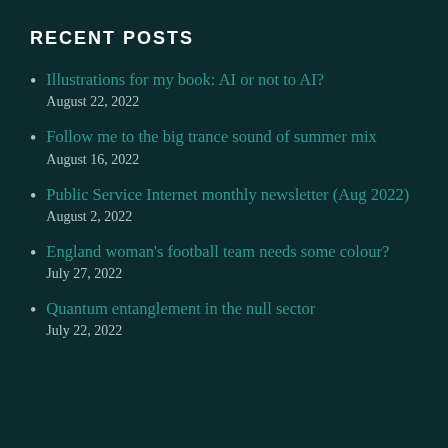RECENT POSTS
Illustrations for my book: AI or not to AI?
August 22, 2022
Follow me to the big trance sound of summer mix
August 16, 2022
Public Service Internet monthly newsletter (Aug 2022)
August 2, 2022
England woman's football team needs some colour?
July 27, 2022
Quantum entanglement in the null sector
July 22, 2022